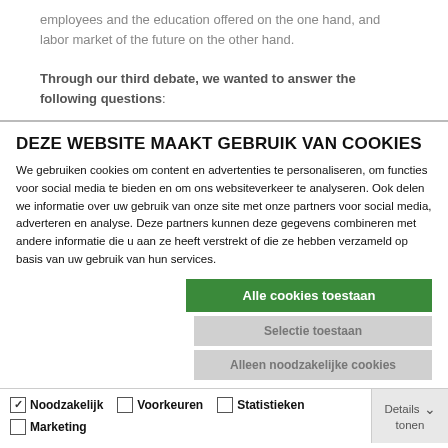employees and the education offered on the one hand, and labor market of the future on the other hand.
Through our third debate, we wanted to answer the following questions:
DEZE WEBSITE MAAKT GEBRUIK VAN COOKIES
We gebruiken cookies om content en advertenties te personaliseren, om functies voor social media te bieden en om ons websiteverkeer te analyseren. Ook delen we informatie over uw gebruik van onze site met onze partners voor social media, adverteren en analyse. Deze partners kunnen deze gegevens combineren met andere informatie die u aan ze heeft verstrekt of die ze hebben verzameld op basis van uw gebruik van hun services.
Alle cookies toestaan
Selectie toestaan
Alleen noodzakelijke cookies
Noodzakelijk  Voorkeuren  Statistieken  Marketing  Details tonen